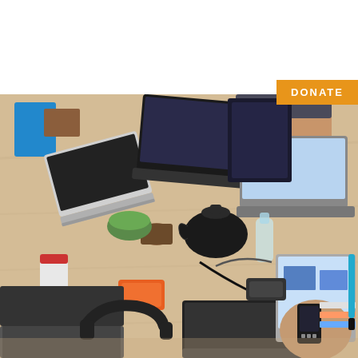[Figure (logo): Peace Geeks logo with olive branch leaf icon on the left and 'PEACE' in blue and 'GEEKS' in dark gray stacked text on the right]
[Figure (other): Hamburger menu icon (three horizontal blue lines) in upper right corner]
DONATE
[Figure (photo): Overhead aerial view of a wooden desk with multiple laptops, notebooks, phones, headphones, a teapot, cups, and various tech accessories. Multiple people's hands visible working on laptops and a calculator/phone.]